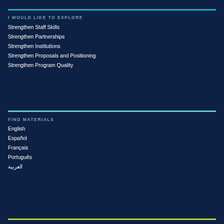I WOULD LIKE TO EXPLORE
Strengthen Staff Skills
Strengthen Partnerships
Strengthen Institutions
Strengthen Proposals and Positioning
Strengthen Program Quality
FIND MATERIALS
English
Español
Français
Português
العربية